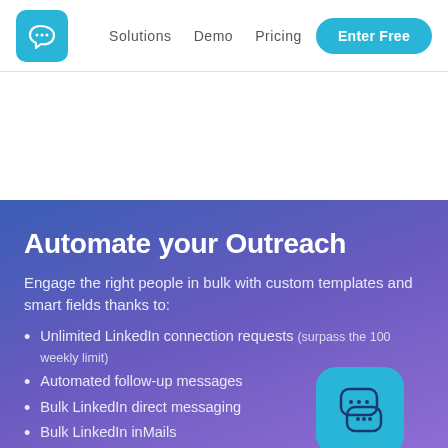Solutions  Demo  Pricing  Enter Free
Automate your Outreach
Engage the right people in bulk with custom templates and smart fields thanks to:
Unlimited LinkedIn connection requests (surpass the 100 weekly limit)
Automated follow-up messages
Bulk LinkedIn direct messaging
Bulk LinkedIn inMails
Bulk Emailing
[Figure (illustration): Chat/messaging icon with two speech bubbles with dots, shown in dark blue on a teal rounded rectangle background]